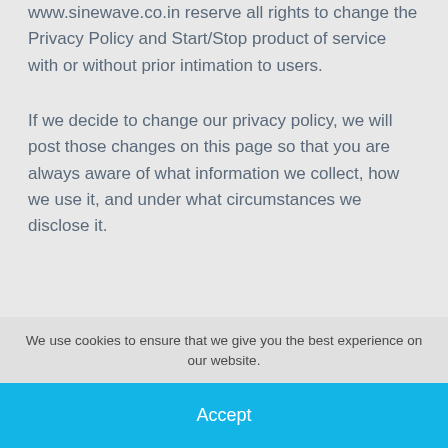www.sinewave.co.in reserve all rights to change the Privacy Policy and Start/Stop product of service with or without prior intimation to users.
If we decide to change our privacy policy, we will post those changes on this page so that you are always aware of what information we collect, how we use it, and under what circumstances we disclose it.
However it is the sole responsibility of www.sinewave.co.in user to keep him/ her duly updated about such changes in the Privacy policy
We use cookies to ensure that we give you the best experience on our website.
Accept